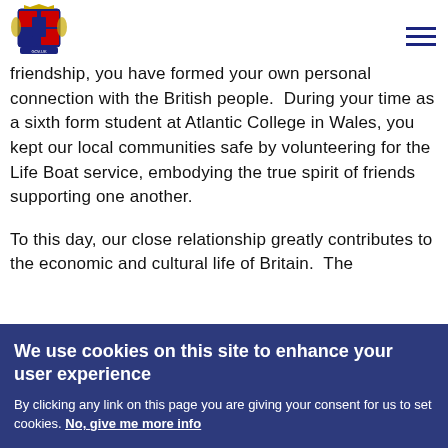[Figure (logo): UK Government Royal coat of arms logo]
friendship, you have formed your own personal connection with the British people.  During your time as a sixth form student at Atlantic College in Wales, you kept our local communities safe by volunteering for the Life Boat service, embodying the true spirit of friends supporting one another.
To this day, our close relationship greatly contributes to the economic and cultural life of Britain.  The
We use cookies on this site to enhance your user experience
By clicking any link on this page you are giving your consent for us to set cookies. No, give me more info